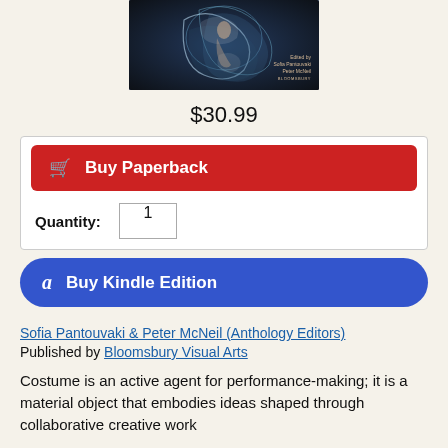[Figure (photo): Book cover image showing a dancer with flowing blue and white fabric against a dark background, with text 'Edited by Sofia Pantouvaki Peter McNeil' and 'BLOOMSBURY' at the bottom right]
$30.99
🛒  Buy Paperback
Quantity: 1
a  Buy Kindle Edition
Sofia Pantouvaki & Peter McNeil (Anthology Editors)
Published by Bloomsbury Visual Arts
Costume is an active agent for performance-making; it is a material object that embodies ideas shaped through collaborative creative work